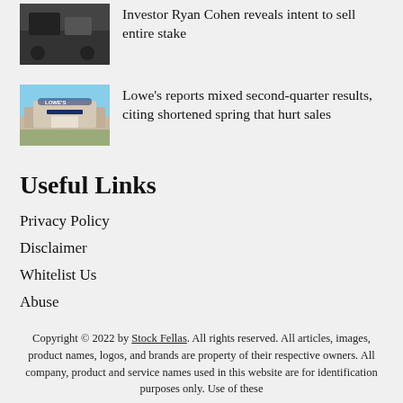[Figure (photo): Dark photo thumbnail, top news item (partial, cropped at top)]
Investor Ryan Cohen reveals intent to sell entire stake
[Figure (photo): Photo of a Lowe's store exterior with blue sky]
Lowe's reports mixed second-quarter results, citing shortened spring that hurt sales
Useful Links
Privacy Policy
Disclaimer
Whitelist Us
Abuse
Copyright © 2022 by Stock Fellas. All rights reserved. All articles, images, product names, logos, and brands are property of their respective owners. All company, product and service names used in this website are for identification purposes only. Use of these